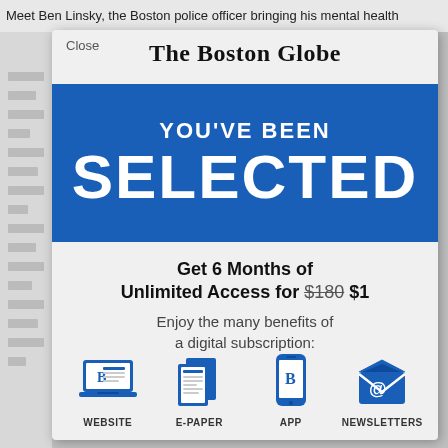Meet Ben Linsky, the Boston police officer bringing his mental health
Close
The Boston Globe
YOU'VE BEEN
SELECTED
Get 6 Months of Unlimited Access for $180 $1
Enjoy the many benefits of a digital subscription:
[Figure (infographic): Four blue icons representing subscription benefits: Website (laptop with B logo), E-Paper (newspaper), App (smartphone with B logo), Newsletters (envelope with @ symbol), each labeled below.]